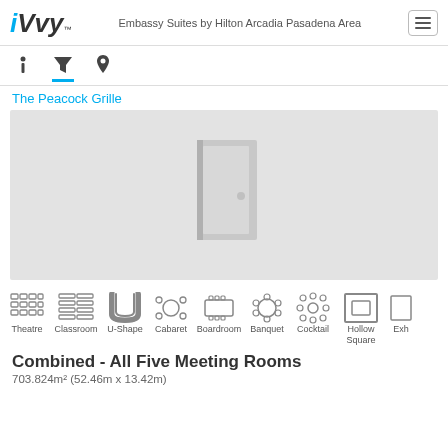iVvy™  Embassy Suites by Hilton Arcadia Pasadena Area
[Figure (screenshot): Navigation tabs: info (i), filter (funnel icon, active with blue underline), location pin icon]
The Peacock Grille
[Figure (illustration): Placeholder room image showing a door icon on a light grey background]
[Figure (infographic): Seating layout icons: Theatre, Classroom, U-Shape, Cabaret, Boardroom, Banquet, Cocktail, Hollow Square, Exh(ibition)]
Combined - All Five Meeting Rooms
703.824m² (52.46m x 13.42m)